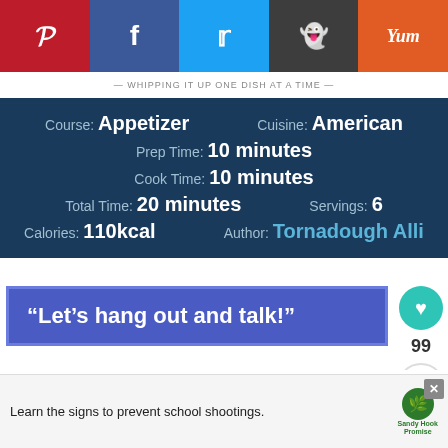[Figure (screenshot): Social sharing bar with Pinterest, Facebook, Twitter, Reddit, and Yummly buttons]
WHIPPING IT UP ONE DISH AT A TIME
| Course: | Appetizer | Cuisine: | American |
| Prep Time: | 10 minutes |  |  |
| Cook Time: | 10 minutes |  |  |
| Total Time: | 20 minutes | Servings: | 6 |
| Calories: | 110kcal | Author: | Tornadough Alli |
“Let’s hang out and talk!”
[Figure (photo): Chocolate Chip... thumbnail image for What's Next section]
[Figure (screenshot): Advertisement: Learn the signs to prevent school shootings. Sandy Hook Promise.]